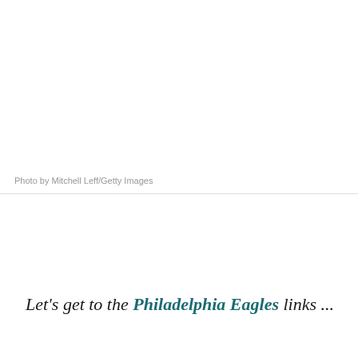Photo by Mitchell Leff/Getty Images
Let's get to the Philadelphia Eagles links ...